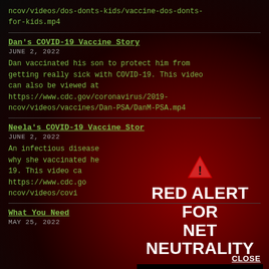ncov/videos/dos-donts-kids/vaccine-dos-donts-for-kids.mp4
Dan's COVID-19 Vaccine Story
JUNE 2, 2022
Dan vaccinated his son to protect him from getting really sick with COVID-19. This video can also be viewed at https://www.cdc.gov/coronavirus/2019-ncov/videos/vaccines/Dan-PSA/DanM-PSA.mp4
Neela's COVID-19 Vaccine Story
JUNE 2, 2022
An infectious disease... why she vaccinated her... 19. This video ca... https://www.cdc.go... ncov/videos/covi...
[Figure (infographic): Red Alert for Net Neutrality overlay with warning triangle icon, bold white text 'RED ALERT FOR NET NEUTRALITY', and a black button labeled 'TAKE ACTION']
What You Need
MAY 25, 2022
CLOSE